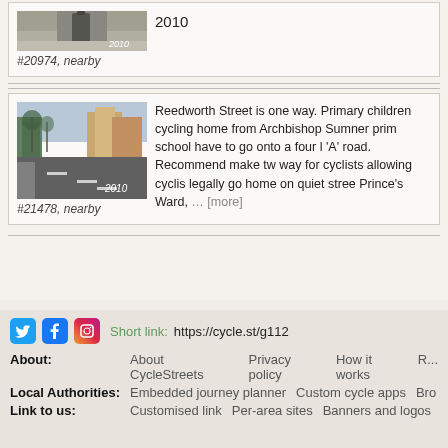[Figure (photo): Street scene photo from 2010 showing pavement with a bin, partial top crop]
#20974, nearby
2010
[Figure (photo): Street photo from 2010 showing Reedworth Street, a wide road with buildings and trees]
#21478, nearby
Reedworth Street is one way. Primary children cycling home from Archbishop Sumner prim school have to go onto a four l 'A' road. Recommend make tw way for cyclists allowing cyclis legally go home on quiet stree Prince's Ward, … [more]
Short link: https://cycle.st/g112
About: About CycleStreets  Privacy policy  How it works  ...
Local Authorities: Embedded journey planner  Custom cycle apps  Br...
Link to us: Customised link  Per-area sites  Banners and logos